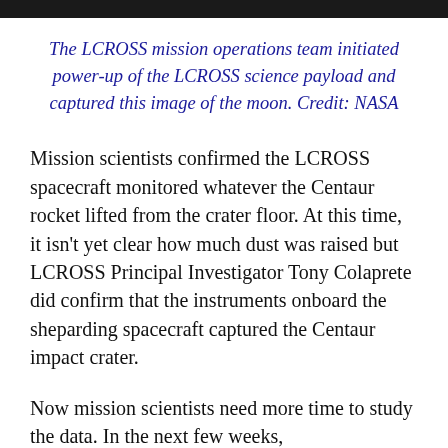The LCROSS mission operations team initiated power-up of the LCROSS science payload and captured this image of the moon. Credit: NASA
Mission scientists confirmed the LCROSS spacecraft monitored whatever the Centaur rocket lifted from the crater floor. At this time, it isn't yet clear how much dust was raised but LCROSS Principal Investigator Tony Colaprete did confirm that the instruments onboard the sheparding spacecraft captured the Centaur impact crater.
Now mission scientists need more time to study the data. In the next few weeks,